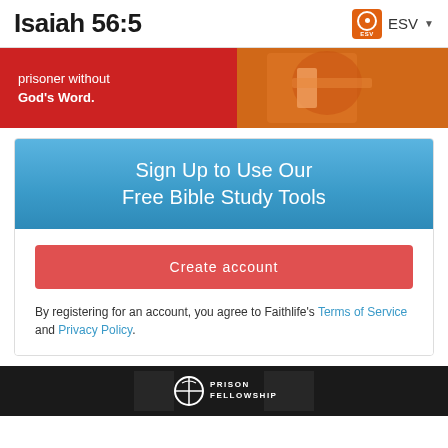Isaiah 56:5
[Figure (screenshot): Top banner with red background showing text 'prisoner without God's Word.' and a photo of a person in orange clothing holding something]
[Figure (infographic): Blue gradient box with white text: Sign Up to Use Our Free Bible Study Tools. Below: white background with red Create account button and terms text.]
By registering for an account, you agree to Faithlife's Terms of Service and Privacy Policy.
[Figure (photo): Bottom dark banner with Prison Fellowship logo — circle with cross/shield icon and PRISON FELLOWSHIP text in white]